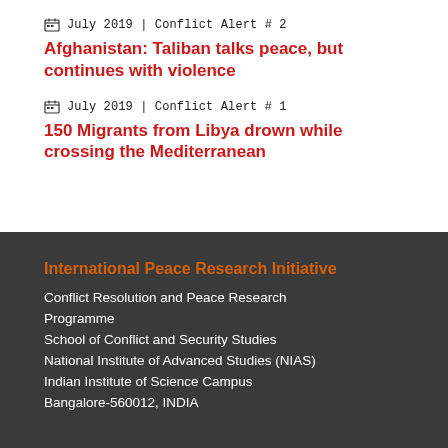July 2019 | Conflict Alert # 2
Afghanistan: Taliban talks peace, but continues with violence
July 2019 | Conflict Alert # 1
150 Migrants from Libya drown while crossing the Mediterranean
International Peace Research Initiative
Conflict Resolution and Peace Research Programme
School of Conflict and Security Studies
National Institute of Advanced Studies (NIAS)
Indian Institute of Science Campus
Bangalore-560012, INDIA